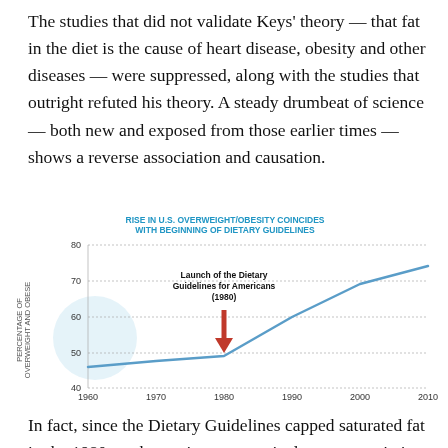The studies that did not validate Keys' theory — that fat in the diet is the cause of heart disease, obesity and other diseases — were suppressed, along with the studies that outright refuted his theory. A steady drumbeat of science — both new and exposed from those earlier times — shows a reverse association and causation.
[Figure (line-chart): RISE IN U.S. OVERWEIGHT/OBESITY COINCIDES WITH BEGINNING OF DIETARY GUIDELINES]
In fact, since the Dietary Guidelines capped saturated fat in the 1980s — becoming progressively more restrictive in